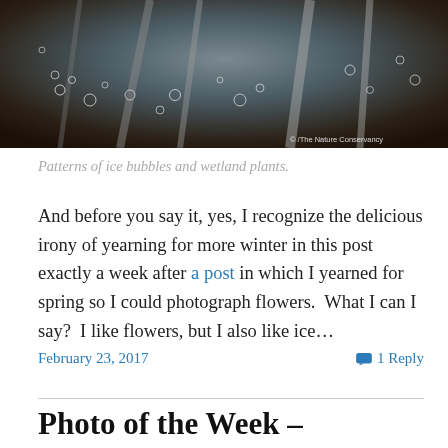[Figure (photo): Close-up photograph of patterns of ice bubbles and wetland plants, with a watermark reading 'The Nature Conservancy' in the lower right corner.]
Patterns of ice bubbles and wetland plants.
And before you say it, yes, I recognize the delicious irony of yearning for more winter in this post exactly a week after a post in which I yearned for spring so I could photograph flowers.  What I can I say?  I like flowers, but I also like ice…
February 23, 2017
1 Reply
Photo of the Week – February 3, 2017